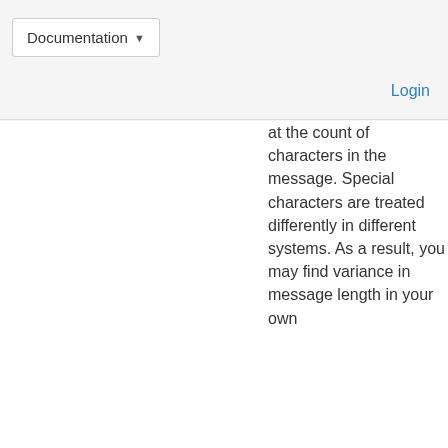Documentation  Login
at the count of characters in the message. Special characters are treated differently in different systems. As a result, you may find variance in message length in your own